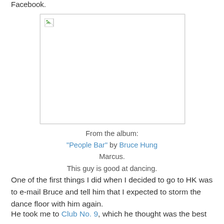Facebook.
[Figure (photo): A broken/unloaded image placeholder with a border, showing a small broken image icon in the top-left corner. White background rectangle with light gray border.]
From the album:
"People Bar" by Bruce Hung Marcus.
This guy is good at dancing.
One of the first things I did when I decided to go to HK was to e-mail Bruce and tell him that I expected to storm the dance floor with him again.
He took me to Club No. 9, which he thought was the best